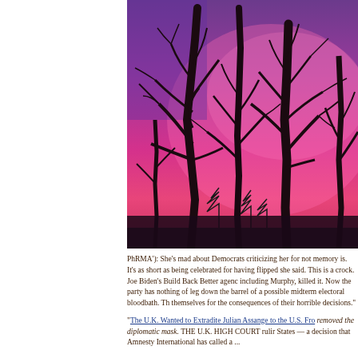[Figure (photo): Photo of bare winter trees silhouetted against a vivid pink and purple sunset sky]
PhRMA'): She's mad about Democrats criticizing her for not memory is. It's as short as being celebrated for having flipped she said. This is a crock. Joe Biden's Build Back Better agenc including Murphy, killed it. Now the party has nothing of leg down the barrel of a possible midterm electoral bloodbath. Th themselves for the consequences of their horrible decisions."
"The U.K. Wanted to Extradite Julian Assange to the U.S. Fr removed the diplomatic mask. THE U.K. HIGH COURT rulir States — a decision that Amnesty International has called a ...